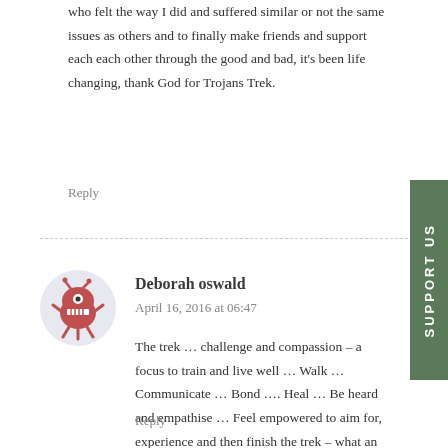who felt the way I did and suffered similar or not the same issues as others and to finally make friends and support each each other through the good and bad, it's been life changing, thank God for Trojans Trek.
Reply
Deborah oswald
April 16, 2016 at 06:47
The trek … challenge and compassion – a focus to train and live well … Walk … Communicate … Bond …. Heal … Be heard and empathise … Feel empowered to aim for, experience and then finish the trek – what an experience – I can see it would be life changing and really esteem building and empowering…. Congratulations to all involved Deb
Reply